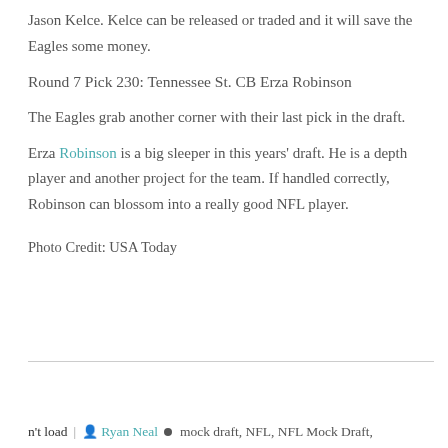Jason Kelce. Kelce can be released or traded and it will save the Eagles some money.
Round 7 Pick 230: Tennessee St. CB Erza Robinson
The Eagles grab another corner with their last pick in the draft.
Erza Robinson is a big sleeper in this years' draft. He is a depth player and another project for the team. If handled correctly, Robinson can blossom into a really good NFL player.
Photo Credit: USA Today
n't load | Ryan Neal  •  mock draft, NFL, NFL Mock Draft,